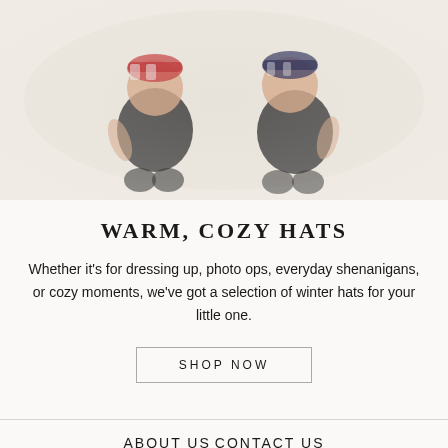[Figure (photo): Two toddlers sitting side by side wearing dark overalls and colorful knit hats, photographed against a light background]
WARM, COZY HATS
Whether it's for dressing up, photo ops, everyday shenanigans, or cozy moments, we've got a selection of winter hats for your little one.
SHOP NOW
ABOUT US
CONTACT US